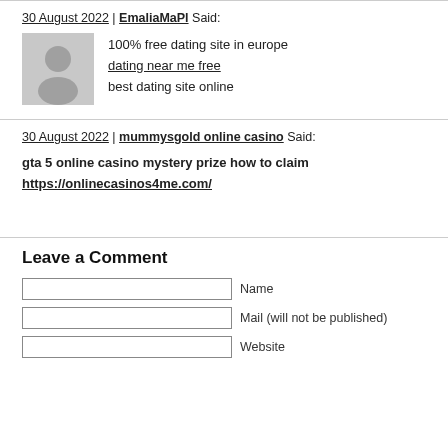30 August 2022 | EmaliaMaPl Said:
100% free dating site in europe
dating near me free
best dating site online
30 August 2022 | mummysgold online casino Said:
gta 5 online casino mystery prize how to claim
https://onlinecasinos4me.com/
Leave a Comment
Name
Mail (will not be published)
Website